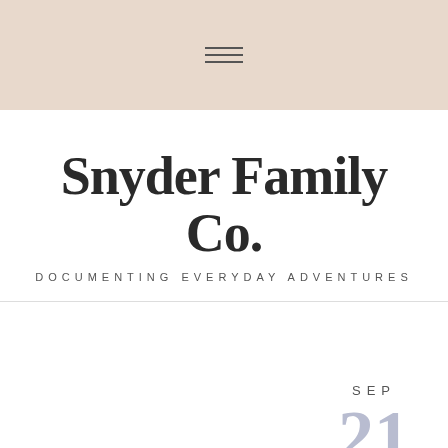≡ (hamburger menu icon)
Snyder Family Co.
DOCUMENTING EVERYDAY ADVENTURES
SEP 21